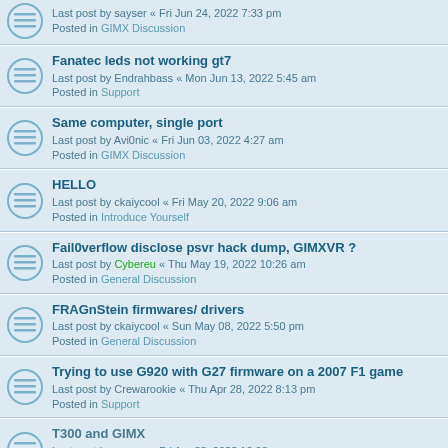Last post by sayser « Fri Jun 24, 2022 7:33 pm
Posted in GIMX Discussion
Fanatec leds not working gt7
Last post by Endrahbass « Mon Jun 13, 2022 5:45 am
Posted in Support
Same computer, single port
Last post by Avi0nic « Fri Jun 03, 2022 4:27 am
Posted in GIMX Discussion
HELLO
Last post by ckaiycool « Fri May 20, 2022 9:06 am
Posted in Introduce Yourself
Fail0verflow disclose psvr hack dump, GIMXVR ?
Last post by Cybereu « Thu May 19, 2022 10:26 am
Posted in General Discussion
FRAGnStein firmwares/ drivers
Last post by ckaiycool « Sun May 08, 2022 5:50 pm
Posted in General Discussion
Trying to use G920 with G27 firmware on a 2007 F1 game
Last post by Crewarookie « Thu Apr 28, 2022 8:13 pm
Posted in Support
T300 and GIMX
Last post by sayser « Fri Apr 22, 2022 10:08 am
Posted in Support
PS4 gt7 brake pedal issue
Last post by panjapa22 « Sat Mar 05, 2022 3:11 pm
Posted in Support